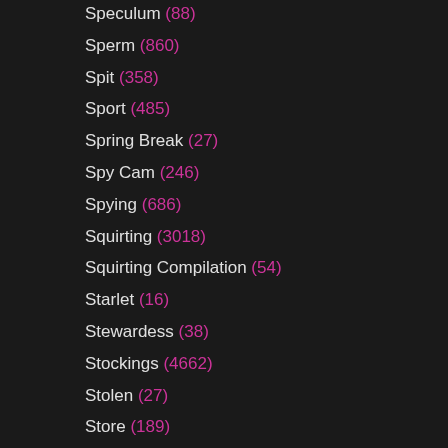Speculum (88)
Sperm (860)
Spit (358)
Sport (485)
Spring Break (27)
Spy Cam (246)
Spying (686)
Squirting (3018)
Squirting Compilation (54)
Starlet (16)
Stewardess (38)
Stockings (4662)
Stolen (27)
Store (189)
Story (199)
Stranger (441)